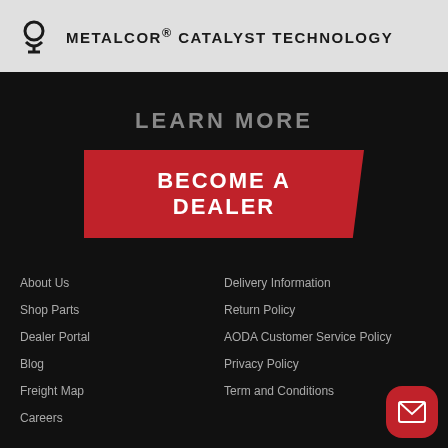METALCOR® CATALYST TECHNOLOGY
LEARN MORE
BECOME A DEALER
About Us
Shop Parts
Dealer Portal
Blog
Freight Map
Careers
Delivery Information
Return Policy
AODA Customer Service Policy
Privacy Policy
Term and Conditions